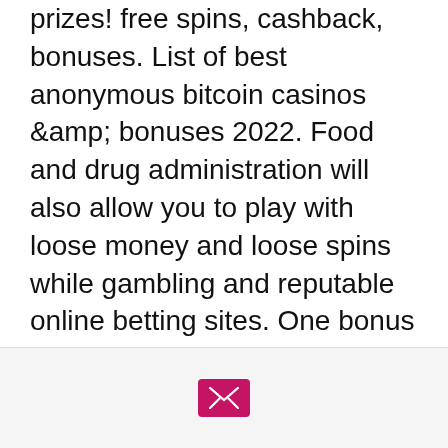prizes! free spins, cashback, bonuses. List of best anonymous bitcoin casinos &amp; bonuses 2022. Food and drug administration will also allow you to play with loose money and loose spins while gambling and reputable online betting sites. One bonus offer per player. Max bonus bet is £5. Bonus spins on selected games only. Bitstarz — best bitcoin casino overall. Pros: multiple crypto-exclusive titles; 3,000+ games from 19 developers; no deposit. Io is one of the best crypto casinos around – new players get a 100% first deposit match bonus. The best bitcoin no deposit casino bonuses march 2022. If you want to play casino games with a no deposit bonus and use bitcoin, you have come to the right. Our top recommendation for crypto gamblers is 7bit casino because it has the most games and lucrative bonuses. However, you should
[Figure (other): Footer bar with a pink/magenta email icon button (envelope icon) centered on a light gray background]